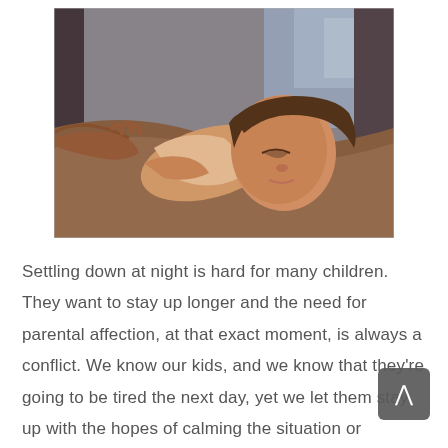[Figure (photo): A young child lying on a pillow being tucked in at night, warm amber/brown tones with a blue background. An adult hand is visible adjusting the blanket.]
Settling down at night is hard for many children. They want to stay up longer and the need for parental affection, at that exact moment, is always a conflict. We know our kids, and we know that they're going to be tired the next day, yet we let them stay up with the hopes of calming the situation or